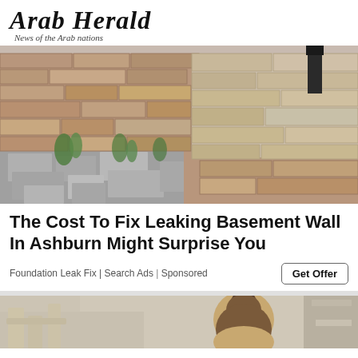Arab Herald — News of the Arab nations
[Figure (photo): Crumbling stone/brick foundation wall with weeds growing at the base, pavement stones visible in foreground]
The Cost To Fix Leaking Basement Wall In Ashburn Might Surprise You
Foundation Leak Fix | Search Ads | Sponsored
[Figure (photo): Partial view of a person with hair in a bun sitting in what appears to be a classroom or cafe setting]